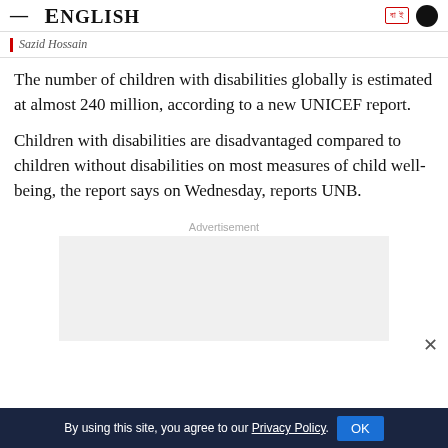ENGLISH
Sazid Hossain
The number of children with disabilities globally is estimated at almost 240 million, according to a new UNICEF report.
Children with disabilities are disadvantaged compared to children without disabilities on most measures of child well-being, the report says on Wednesday, reports UNB.
Advertisement
[Figure (other): Advertisement placeholder box (grey rectangle)]
By using this site, you agree to our Privacy Policy. OK